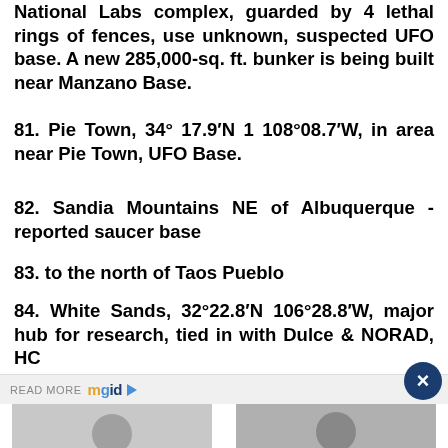National Labs complex, guarded by 4 lethal rings of fences, use unknown, suspected UFO base. A new 285,000-sq. ft. bunker is being built near Manzano Base.
81. Pie Town, 34° 17.9′N 1 108°08.7′W, in area near Pie Town, UFO Base.
82. Sandia Mountains NE of Albuquerque -reported saucer base
83. to the north of Taos Pueblo
84. White Sands, 32°22.8′N 106°28.8′W, major hub for research, tied in with Dulce & NORAD, HQ…
[Figure (screenshot): READ MORE mgid advertisement bar with close button]
[Figure (photo): Getting In Shape? This Is The Most Overlooked Advice - woman flexing muscles]
Getting In Shape? This Is The Most Overlooked Advice
[Figure (photo): Maybe These Are Dua Lipa's New Rules? - blonde woman in black and white photo]
Maybe These Are Dua Lipa's New Rules?